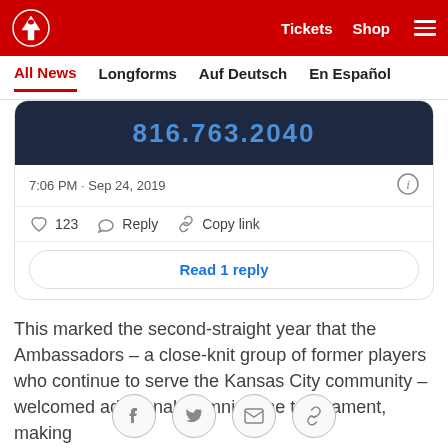Kansas City Chiefs — Tickets  Shop
All News  Longforms  Auf Deutsch  En Español
[Figure (screenshot): Embedded tweet showing a bus with phone number 816.763.2040, timestamp 7:06 PM · Sep 24, 2019, with 123 likes, Reply, Copy link actions, and a Read 1 reply button]
This marked the second-straight year that the Ambassadors – a close-knit group of former players who continue to serve the Kansas City community – welcomed additional alumni to the tournament, making for a truly special event.